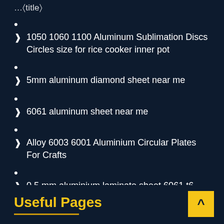• (bullet)
> 1050 1060 1100 Aluminum Sublimation Discs Circles size for rice cooker inner pot
• (bullet)
> 5mm aluminum diamond sheet near me
• (bullet)
> 6061 aluminum sheet near me
• (bullet)
> Alloy 6003 6001 Aluminium Circular Plates For Crafts
• (bullet)
> 0 5 mm aluminium laminate sheet 6061 t6
Useful Pages